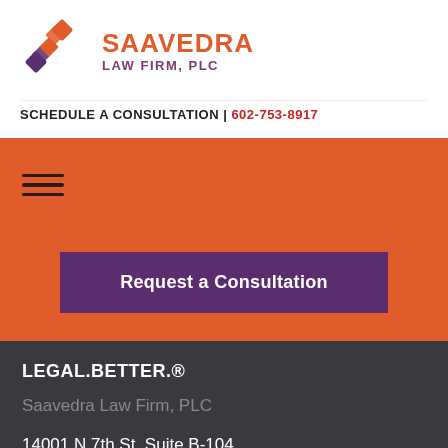[Figure (logo): Saavedra Law Firm PLC logo — orange and purple interlocking S-shape diamonds with firm name]
SAAVEDRA LAW FIRM, PLC
SCHEDULE A CONSULTATION | 602-753-8917
[Figure (other): Orange navigation bar with hamburger menu icon (three horizontal lines)]
Request a Consultation
LEGAL.BETTER.®
Saavedra Law Firm, PLC
14001 N 7th St, Suite B-104
Phoenix, AZ 85022